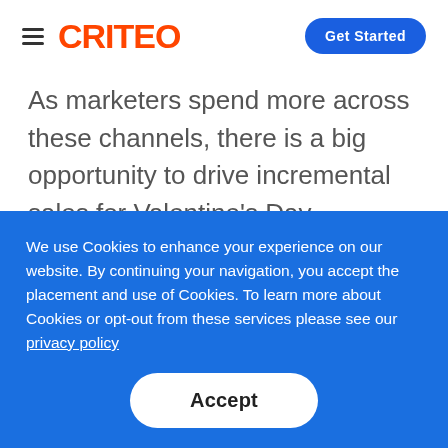CRITEO | Get Started
As marketers spend more across these channels, there is a big opportunity to drive incremental sales for Valentine's Day. Marketers should focus on inspiring gift shoppers by adjusting your messaging and
We use Cookies to enhance your experience on our website. By continuing your navigation, you accept the placement and use of Cookies. To learn more about Cookies or opt-out from these services please see our privacy policy
Accept